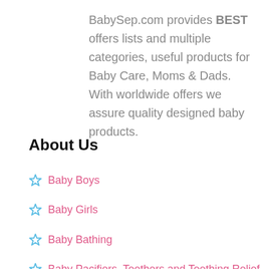BabySep.com provides BEST offers lists and multiple categories, useful products for Baby Care, Moms & Dads. With worldwide offers we assure quality designed baby products.
About Us
Baby Boys
Baby Girls
Baby Bathing
Baby Pacifiers, Teethers and Teething Relief Products
Potties and Seats